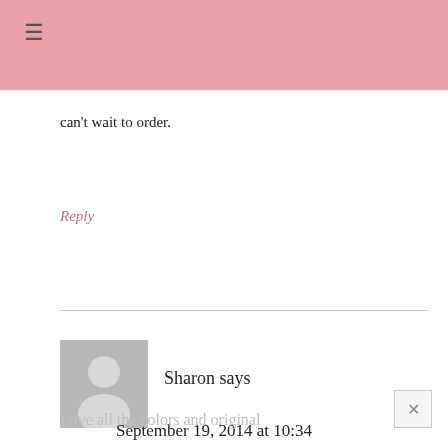≡
can't wait to order.
Reply
Sharon says
September 19, 2014 at 10:34 am
Love all the colors and original